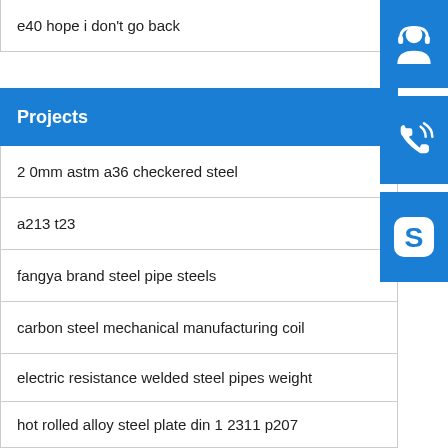e40 hope i don&#039;t go back
Projects
2 0mm astm a36 checkered steel
a213 t23
fangya brand steel pipe steels
carbon steel mechanical manufacturing coil
electric resistance welded steel pipes weight
hot rolled alloy steel plate din 1 2311 p207
[Figure (illustration): Support agent icon (headset person) in blue square]
[Figure (illustration): Phone/call icon in blue square]
[Figure (illustration): Skype icon in blue square]